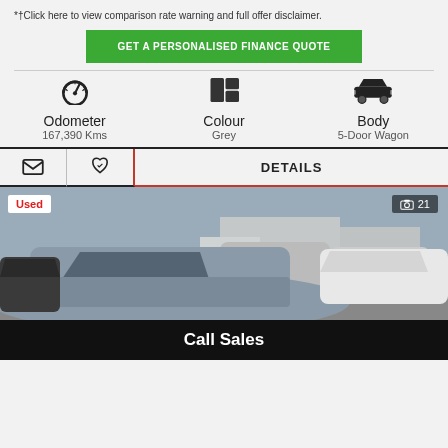*†Click here to view comparison rate warning and full offer disclaimer.
GET A PERSONALISED FINANCE QUOTE
Odometer 167,390 Kms | Colour Grey | Body 5-Door Wagon
DETAILS
[Figure (photo): Used car lot with multiple vehicles parked, grey sedan prominent in foreground, 'Used' badge top-left, photo count '21' top-right]
Call Sales